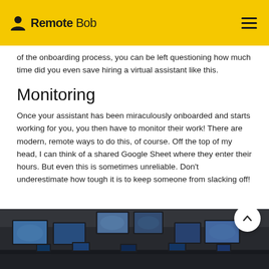Remote Bob
of the onboarding process, you can be left questioning how much time did you even save hiring a virtual assistant like this.
Monitoring
Once your assistant has been miraculously onboarded and starts working for you, you then have to monitor their work! There are modern, remote ways to do this, of course. Off the top of my head, I can think of a shared Google Sheet where they enter their hours. But even this is sometimes unreliable. Don't underestimate how tough it is to keep someone from slacking off!
[Figure (photo): A monitoring/control room with multiple screens displaying surveillance or data feeds, viewed from inside the room.]